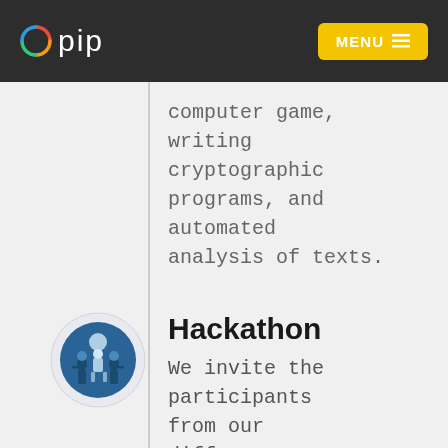pip  MENU
computer game, writing cryptographic programs, and automated analysis of texts.
[Figure (illustration): Circular icon with blue background showing a robotic or mechanical figure with light bulb, resembling a hackathon/technology theme]
Hackathon
We invite the participants from our different